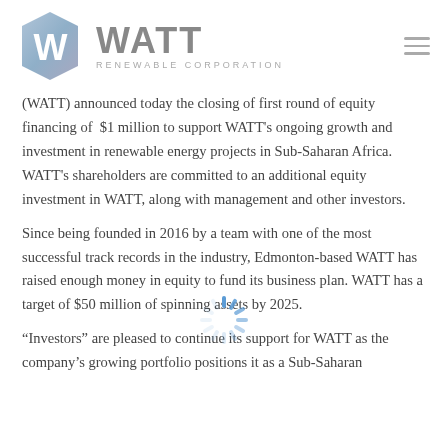[Figure (logo): WATT Renewable Corporation logo with hexagonal W icon and company name]
(WATT) announced today the closing of first round of equity financing of $1 million to support WATT's ongoing growth and investment in renewable energy projects in Sub-Saharan Africa. WATT's shareholders are committed to an additional equity investment in WATT, along with management and other investors.
Since being founded in 2016 by a team with one of the most successful track records in the industry, Edmonton-based WATT has raised enough money in equity to fund its business plan. WATT has a target of $50 million of spinning assets by 2025.
“Investors” are pleased to continue its support for WATT as the company’s growing portfolio positions it as a Sub-Saharan